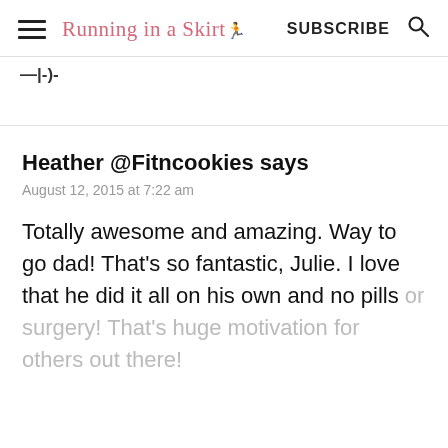Running in a Skirt  SUBSCRIBE
—|-)‐
Heather @Fitncookies says
August 12, 2015 at 7:22 am
Totally awesome and amazing. Way to go dad! That's so fantastic, Julie. I love that he did it all on his own and no pills or surgery! That's huge motivation for others out there!